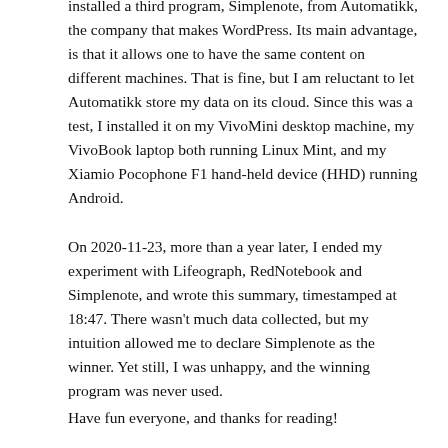installed a third program, Simplenote, from Automatikk, the company that makes WordPress. Its main advantage, is that it allows one to have the same content on different machines. That is fine, but I am reluctant to let Automatikk store my data on its cloud. Since this was a test, I installed it on my VivoMini desktop machine, my VivoBook laptop both running Linux Mint, and my Xiamio Pocophone F1 hand-held device (HHD) running Android.
On 2020-11-23, more than a year later, I ended my experiment with Lifeograph, RedNotebook and Simplenote, and wrote this summary, timestamped at 18:47. There wasn't much data collected, but my intuition allowed me to declare Simplenote as the winner. Yet still, I was unhappy, and the winning program was never used.
Have fun everyone, and thanks for reading!